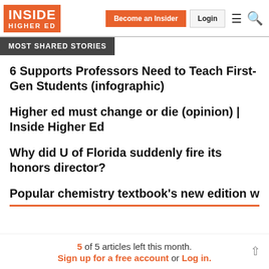INSIDE HIGHER ED | Become an Insider | Login
MOST SHARED STORIES
6 Supports Professors Need to Teach First-Gen Students (infographic)
Higher ed must change or die (opinion) | Inside Higher Ed
Why did U of Florida suddenly fire its honors director?
Popular chemistry textbook's new edition will
5 of 5 articles left this month. Sign up for a free account or Log in.